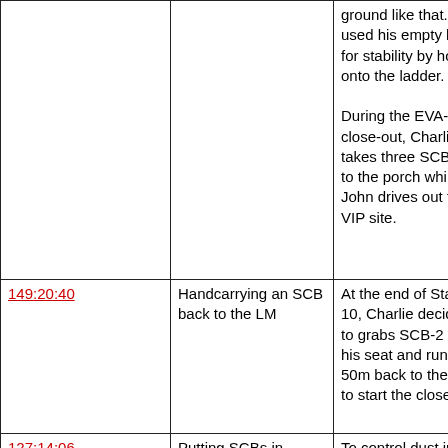|  |  | ground like that." He used his empty hand for stability by holding onto the ladder.

During the EVA-3 close-out, Charlie takes three SCBs up to the porch while John drives out to the VIP site. |
| 149:20:40 | Handcarrying an SCB back to the LM | At the end of Station 10, Charlie decides to grabs SCB-2 off his seat and run the 50m back to the LM to start the close-out. |
| 127:14:06
172:57:32 | Putting SCBs in containment bags | To control dust in the cabin, after weighing, SCBs that didn't go in a rock box are |